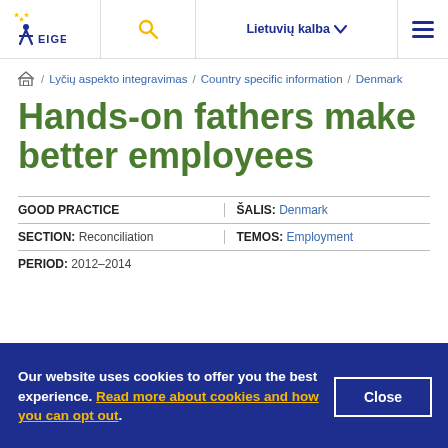EIGE | Lietuvių kalba
/ Lyčių aspekto integravimas / Country specific information / Denmark
Hands-on fathers make better employees
GOOD PRACTICE | ŠALIS: Denmark | SECTION: Reconciliation | TEMOS: Employment | PERIOD: 2012–2014
Our website uses cookies to offer you the best experience. Read more about cookies and how you can opt out.